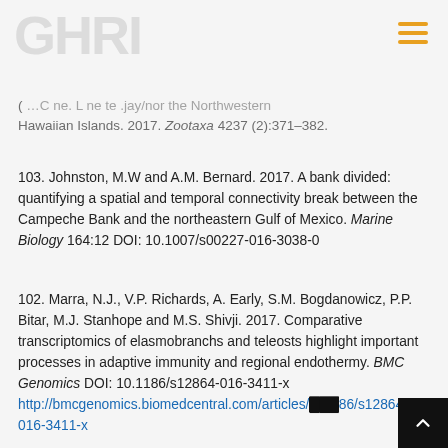GHRI (logo watermark)
( ...C ne. L ne te .jay/nor the Northwestern Hawaiian Islands. 2017. Zootaxa 4237 (2):371–382.
103. Johnston, M.W and A.M. Bernard. 2017. A bank divided: quantifying a spatial and temporal connectivity break between the Campeche Bank and the northeastern Gulf of Mexico. Marine Biology 164:12 DOI: 10.1007/s00227-016-3038-0
102. Marra, N.J., V.P. Richards, A. Early, S.M. Bogdanowicz, P.P. Bitar, M.J. Stanhope and M.S. Shivji. 2017. Comparative transcriptomics of elasmobranchs and teleosts highlight important processes in adaptive immunity and regional endothermy. BMC Genomics DOI: 10.1186/s12864-016-3411-x http://bmcgenomics.biomedcentral.com/articles/10.1186/s12864-016-3411-x